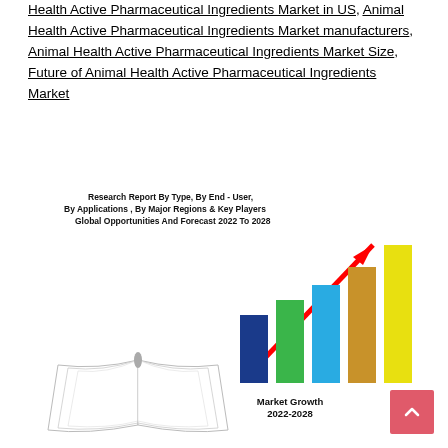Health Active Pharmaceutical Ingredients Market in US, Animal Health Active Pharmaceutical Ingredients Market manufacturers, Animal Health Active Pharmaceutical Ingredients Market Size, Future of Animal Health Active Pharmaceutical Ingredients Market
[Figure (bar-chart): Bar chart showing Market Growth 2022-2028 with 5 ascending bars (blue, green, cyan, orange/tan, yellow) and a red arrow pointing upward-right, overlaid on an open book illustration.]